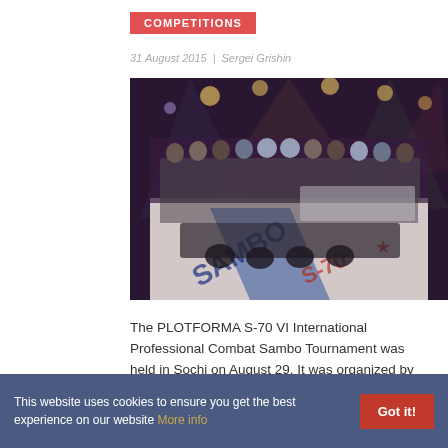COMPETITIONS
31 August 2015  |  Sergei Grishin
[Figure (photo): Group photo of fighters and officials posing inside a combat sambo ring at the PLOTFORMA S-70 VI International Professional Combat Sambo Tournament in Sochi. The ring mat shows 'SAMBO' and league branding. Dramatic stage lighting in the background.]
The PLOTFORMA S-70 VI International Professional Combat Sambo Tournament was held in Sochi on August 29. It was organized by LEAGUE S-70 with the support of the
This website uses cookies to ensure you get the best experience on our website More info